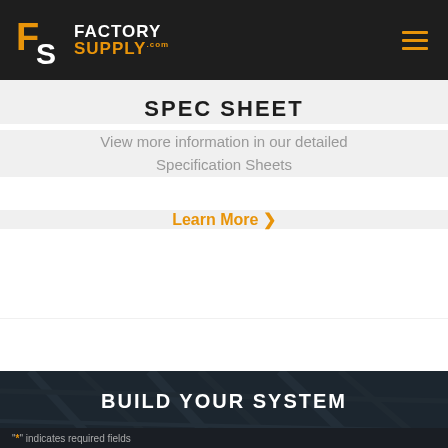Factory Supply .com
SPEC SHEET
View more information in our detailed Specification Sheets
Learn More >
BUILD YOUR SYSTEM
"*" indicates required fields